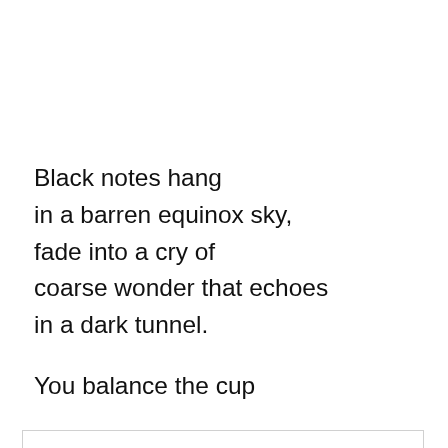Black notes hang
in a barren equinox sky,
fade into a cry of
coarse wonder that echoes
in a dark tunnel.
You balance the cup
Privacy & Cookies: This site uses cookies. By continuing to use this website, you agree to their use.
To find out more, including how to control cookies, see here: Cookie Policy